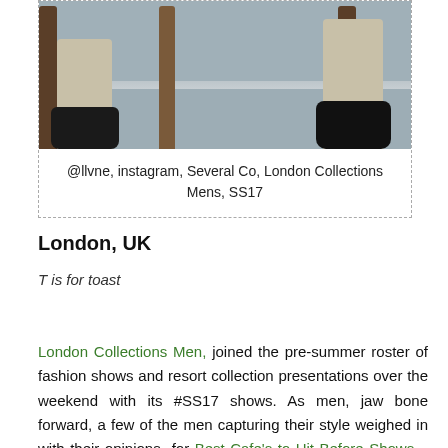[Figure (photo): Photo of a person's legs and black boots, seated on chairs, viewed from below a table. Wooden chair legs visible.]
@llvne, instagram, Several Co, London Collections Mens, SS17
London, UK
T is for toast
London Collections Men, joined the pre-summer roster of fashion shows and resort collection presentations over the weekend with its #SS17 shows. As men, jaw bone forward, a few of the men capturing their style weighed in with their opinions for Best Cafe's to Hit Before Shows – which included everything from cafes